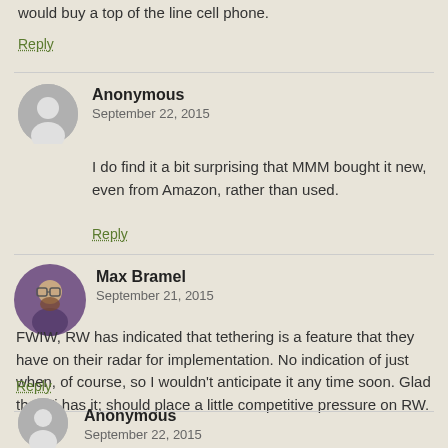would buy a top of the line cell phone.
Reply
Anonymous
September 22, 2015
I do find it a bit surprising that MMM bought it new, even from Amazon, rather than used.
Reply
Max Bramel
September 21, 2015
FWIW, RW has indicated that tethering is a feature that they have on their radar for implementation. No indication of just when, of course, so I wouldn't anticipate it any time soon. Glad that Fi has it; should place a little competitive pressure on RW.
Reply
Anonymous
September 22, 2015